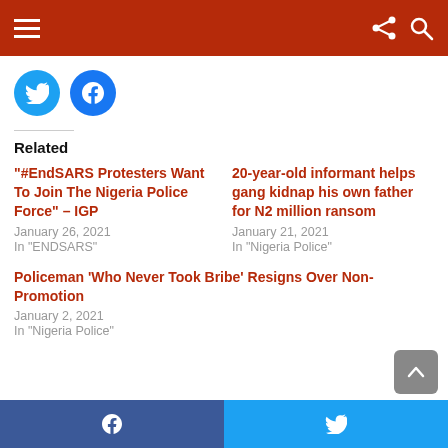Navigation bar with hamburger menu, share and search icons
[Figure (other): Twitter and Facebook circular share buttons]
Related
"#EndSARS Protesters Want To Join The Nigeria Police Force" – IGP
January 26, 2021
In "ENDSARS"
20-year-old informant helps gang kidnap his own father for N2 million ransom
January 21, 2021
In "Nigeria Police"
Policeman 'Who Never Took Bribe' Resigns Over Non-Promotion
January 2, 2021
In "Nigeria Police"
f  (Facebook share)   (Twitter share)